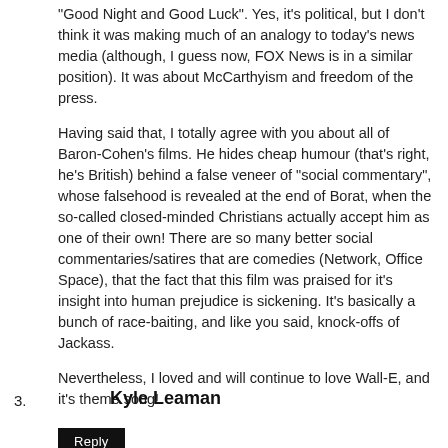"Good Night and Good Luck". Yes, it's political, but I don't think it was making much of an analogy to today's news media (although, I guess now, FOX News is in a similar position). It was about McCarthyism and freedom of the press.
Having said that, I totally agree with you about all of Baron-Cohen's films. He hides cheap humour (that's right, he's British) behind a false veneer of "social commentary", whose falsehood is revealed at the end of Borat, when the so-called closed-minded Christians actually accept him as one of their own! There are so many better social commentaries/satires that are comedies (Network, Office Space), that the fact that this film was praised for it's insight into human prejudice is sickening. It's basically a bunch of race-baiting, and like you said, knock-offs of Jackass.
Nevertheless, I loved and will continue to love Wall-E, and it's theme song!
Reply
3.
Kyle Leaman